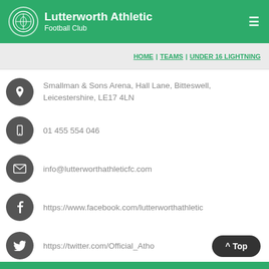Lutterworth Athletic Football Club
HOME | TEAMS | UNDER 16 LIGHTNING
Smallman & Sons Arena, Hall Lane, Bitteswell, Leicestershire, LE17 4LN
01 455 554 046
info@lutterworthathleticfc.com
https://www.facebook.com/lutterworthathletic
https://twitter.com/Official_Atho